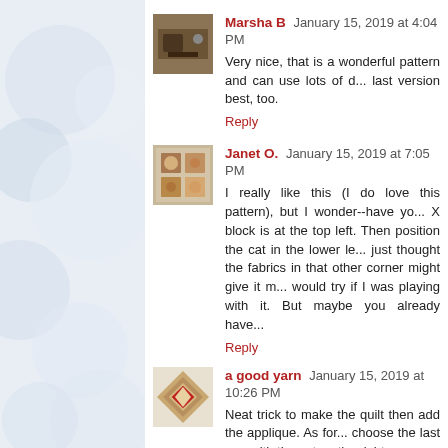[Figure (photo): Avatar image of Marsha B - small square photo showing a sewing machine or similar]
Marsha B  January 15, 2019 at 4:04 PM
Very nice, that is a wonderful pattern and can use lots of d... last version best, too.
Reply
[Figure (photo): Avatar image of Janet O. - decorative quilt pattern square]
Janet O.  January 15, 2019 at 7:05 PM
I really like this (I do love this pattern), but I wonder--have yo... X block is at the top left. Then position the cat in the lower le... just thought the fabrics in that other corner might give it m... would try if I was playing with it. But maybe you already have...
Reply
[Figure (photo): Avatar image of a good yarn - quilt diamond shape]
a good yarn  January 15, 2019 at 10:26 PM
Neat trick to make the quilt then add the applique. As for... choose the last one with the cat on the right.
Reply
[Figure (photo): Avatar image of ---Love--- (partially visible at bottom)]
---"Love"  January 15, 2019 at 11:47 PM